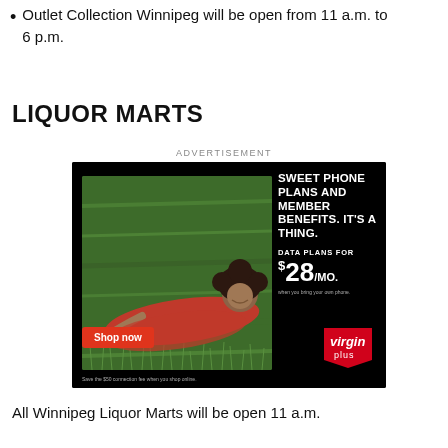Outlet Collection Winnipeg will be open from 11 a.m. to 6 p.m.
LIQUOR MARTS
ADVERTISEMENT
[Figure (photo): Virgin Plus advertisement featuring a woman in a red dress lying on grass holding a phone. Text reads: SWEET PHONE PLANS AND MEMBER BENEFITS. IT'S A THING. DATA PLANS FOR $28/MO. Shop now button. Save the $50 connection fee when you shop online.]
All Winnipeg Liquor Marts will be open 11 a.m.